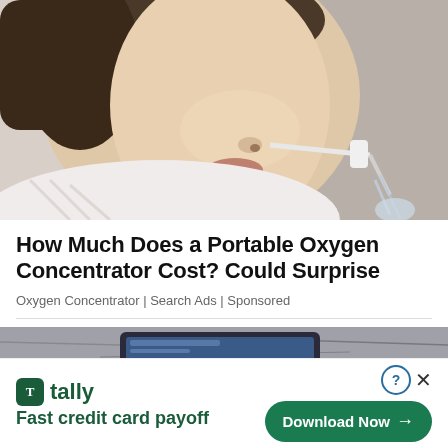[Figure (photo): Side profile of a woman using a nasal oxygen cannula or glass oxygen device, wearing a white shirt, light background]
How Much Does a Portable Oxygen Concentrator Cost? Could Surprise
Oxygen Concentrator | Search Ads | Sponsored
[Figure (photo): Partial view of a tablet or phone on a stone/marble surface]
[Figure (infographic): Tally app advertisement banner: Tally logo, 'Fast credit card payoff', Download Now button with arrow, help and close icons]